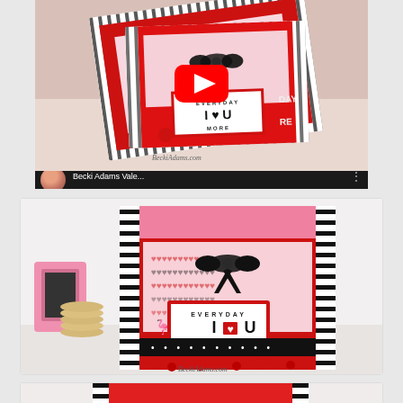[Figure (screenshot): YouTube video thumbnail showing Valentine's Day cards by Becki Adams, with a red play button overlay. The info bar shows a circular avatar photo of a woman, the title 'Becki Adams Vale...' and a three-dot menu icon.]
[Figure (photo): Photograph of a Valentine's Day handmade card reading 'EVERYDAY I ♥ U MORE' in a white bordered box with red outline, on a black and white striped background with pink top stripe and red body. A black bow decorates the card. A pink ornate picture frame and stack of cookies are on the left. Red candy pieces scattered at the bottom. Watermark reads BeckiAdams.com]
[Figure (photo): Partial view of a third Valentine's Day card photograph, cut off at the bottom of the page.]